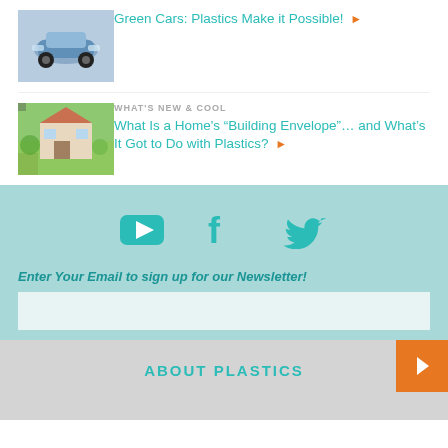[Figure (photo): Electric/green car thumbnail image]
Green Cars: Plastics Make it Possible!
[Figure (photo): House with green lawn and people thumbnail]
WHAT'S NEW & COOL
What Is a Home's “Building Envelope”… and What's It Got to Do with Plastics?
[Figure (infographic): Social media icons: YouTube, Facebook, Twitter]
Enter Your Email to sign up for our Newsletter!
ABOUT PLASTICS